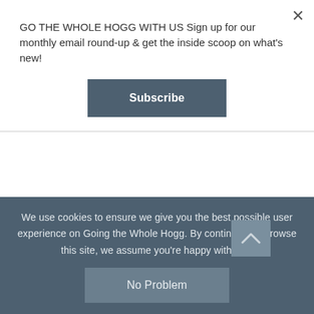GO THE WHOLE HOGG WITH US Sign up for our monthly email round-up & get the inside scoop on what's new!
Subscribe
fill up at the Gulf petrol station on the outskirts of town (41.4499, 46.1299). Note that there is nowhere to get fuel until you return here on Day 4.
We use cookies to ensure we give you the best possible user experience on Going the Whole Hogg. By continuing to browse this site, we assume you're happy with this
No Problem